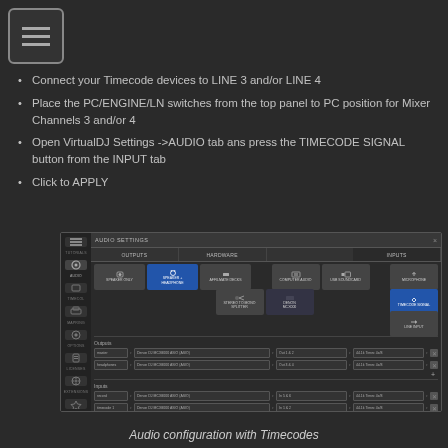Connect your Timecode devices to LINE 3 and/or LINE 4
Place the PC/ENGINE/LN switches from the top panel to PC position for Mixer Channels 3 and/or 4
Open VirtualDJ Settings ->AUDIO tab ans press the TIMECODE SIGNAL button from the INPUT tab
Click to APPLY
[Figure (screenshot): VirtualDJ Audio Settings dialog showing OUTPUTS, HARDWARE, and INPUTS tabs with Denon DJ MCX8000 ASIO (ASIO) configuration for outputs (Master and Headphones) and inputs (record, timecode 1, timecode 2), with timecodes mapped to specific channels.]
Audio configuration with Timecodes